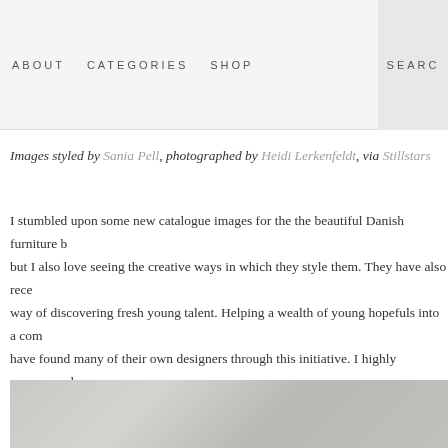ABOUT   CATEGORIES   SHOP   SEARCH
Images styled by Sania Pell, photographed by Heidi Lerkenfeldt, via Stillstars
I stumbled upon some new catalogue images for the the beautiful Danish furniture b... but I also love seeing the creative ways in which they style them. They have also rece... way of discovering fresh young talent. Helping a wealth of young hopefuls into a com... have found many of their own designers through this initiative. I highly recommend... and winners.
[Figure (photo): Grey toned interior/furniture catalogue photograph, partially visible at bottom of page]